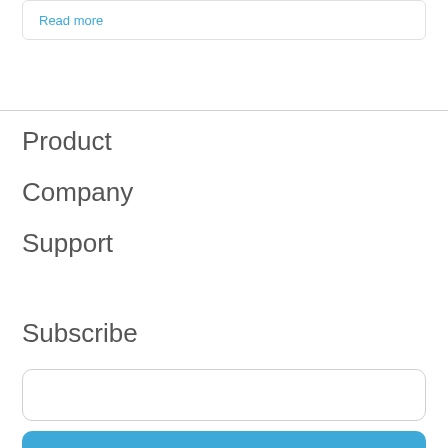Read more
Product
Company
Support
Subscribe
[email input field]
Subscribe